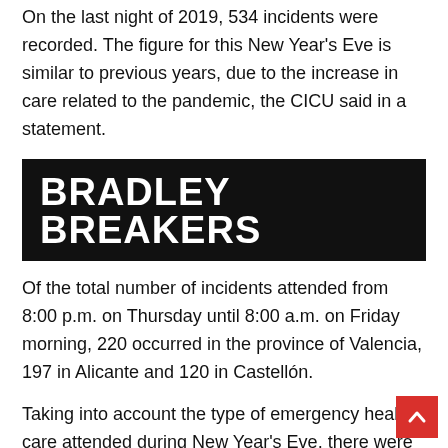On the last night of 2019, 534 incidents were recorded. The figure for this New Year's Eve is similar to previous years, due to the increase in care related to the pandemic, the CICU said in a statement.
[Figure (logo): Bradley Breakers logo — white bold text on black background]
Of the total number of incidents attended from 8:00 p.m. on Thursday until 8:00 a.m. on Friday morning, 220 occurred in the province of Valencia, 197 in Alicante and 120 in Castellón.
Taking into account the type of emergency health care attended during New Year's Eve, there were 18 alcohol intoxications, compared to 142 registered on the last night of 2019. The CICU of Valencia has dealt with 9, Alicante 6 and In the province of Castellón there were 3 incidents.